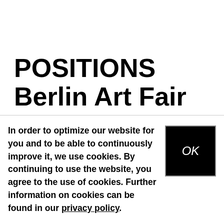POSITIONS Berlin Art Fair
After last year's overwhelming response, the POSITIONS Berlin Art Fair kicks off the art season in
In order to optimize our website for you and to be able to continuously improve it, we use cookies. By continuing to use the website, you agree to the use of cookies. Further information on cookies can be found in our privacy policy.